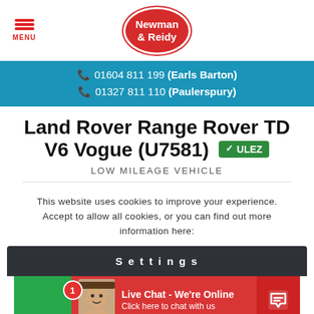Newman & Reidy — MENU | 01604 811 199 (Earls Barton) | 01327 811 110 (Paulerspury)
Land Rover Range Rover TD V6 Vogue (U7581) ✓ ULEZ
LOW MILEAGE VEHICLE
This website uses cookies to improve your experience. Accept to allow all cookies, or you can find out more information here:
Settings
Live Chat - We're Online
Click here to chat with us